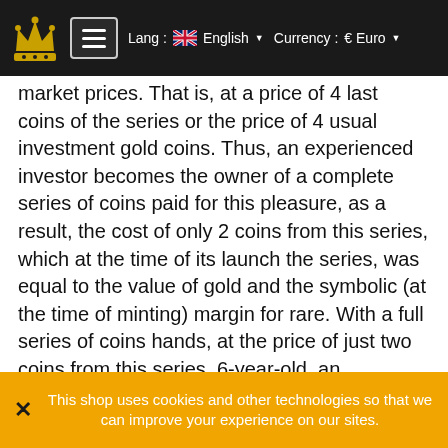Lang : English | Currency : € Euro
market prices. That is, at a price of 4 last coins of the series or the price of 4 usual investment gold coins. Thus, an experienced investor becomes the owner of a complete series of coins paid for this pleasure, as a result, the cost of only 2 coins from this series, which at the time of its launch the series, was equal to the value of gold and the symbolic (at the time of minting) margin for rare. With a full series of coins hands, at the price of just two coins from this series, 6-year-old, an experienced investor sells so formed a series, at current market prices. Experienced investors, this process is put on stream on a regular basis. Investment mechanism described above is replicated in a large amount of coins from the first series and the different replicated many times on all promising series. Particularly attractive, in terms of sophisticated investors look series of coins, the circulation of which is not limited by the number
This shop uses cookies and other technologies so that we can improve your experience on our sites.